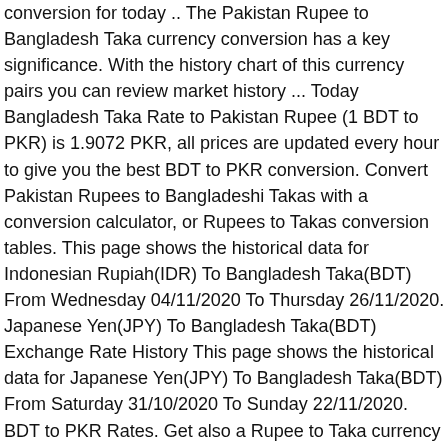conversion for today .. The Pakistan Rupee to Bangladesh Taka currency conversion has a key significance. With the history chart of this currency pairs you can review market history ... Today Bangladesh Taka Rate to Pakistan Rupee (1 BDT to PKR) is 1.9072 PKR, all prices are updated every hour to give you the best BDT to PKR conversion. Convert Pakistan Rupees to Bangladeshi Takas with a conversion calculator, or Rupees to Takas conversion tables. This page shows the historical data for Indonesian Rupiah(IDR) To Bangladesh Taka(BDT) From Wednesday 04/11/2020 To Thursday 26/11/2020. Japanese Yen(JPY) To Bangladesh Taka(BDT) Exchange Rate History This page shows the historical data for Japanese Yen(JPY) To Bangladesh Taka(BDT) From Saturday 31/10/2020 To Sunday 22/11/2020. BDT to PKR Rates. Get also a Rupee to Taka currency converter widget or currency conversion guide sheet or chart for your website. December 2020 10:56 PM (GMT). Korean Won(KRW) To Bangladesh Taka(BDT) Exchange Rate History This page shows the historical data for Korean Won(KRW) To